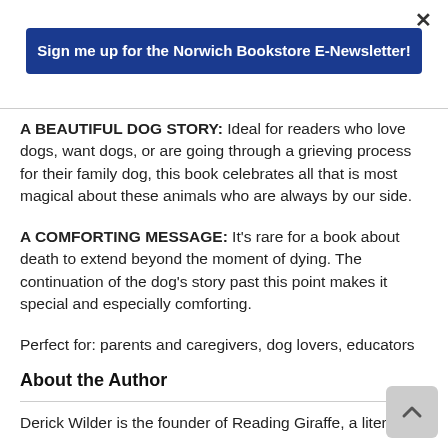×
Sign me up for the Norwich Bookstore E-Newsletter!
A BEAUTIFUL DOG STORY: Ideal for readers who love dogs, want dogs, or are going through a grieving process for their family dog, this book celebrates all that is most magical about these animals who are always by our side.
A COMFORTING MESSAGE: It's rare for a book about death to extend beyond the moment of dying. The continuation of the dog's story past this point makes it special and especially comforting.
Perfect for: parents and caregivers, dog lovers, educators
About the Author
Derick Wilder is the founder of Reading Giraffe, a literacy